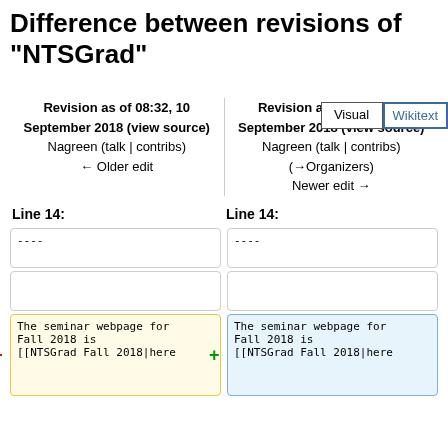Difference between revisions of "NTSGrad"
Visual | Wikitext (tabs)
Revision as of 08:32, 10 September 2018 (view source)
Nagreen (talk | contribs)
← Older edit
Revision as of 08:32, 10 September 2018 (view source)
Nagreen (talk | contribs)
(→Organizers)
Newer edit →
Line 14:
Line 14:
----
----
The seminar webpage for
Fall 2018 is
[[NTSGrad Fall 2018|here
The seminar webpage for
Fall 2018 is
[[NTSGrad Fall 2018|here